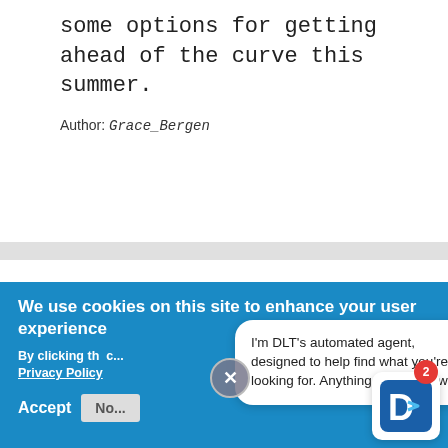some options for getting ahead of the curve this summer.
Author: Grace_Bergen
[Figure (illustration): Purple-tinted image of a man in a suit with an orange newspaper/document icon overlay]
We use cookies on this site to enhance your user experience
By clicking th... Privacy Policy
Accept   No...
I'm DLT's automated agent, designed to help find what you're looking for. Anything I can help with?